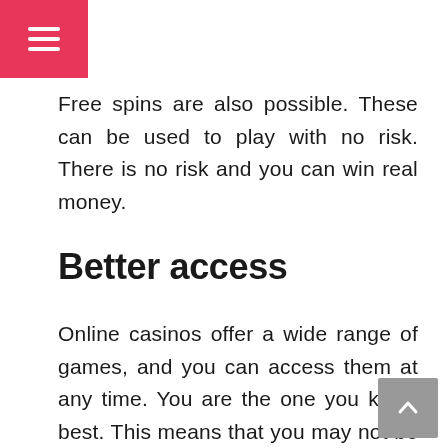≡
Free spins are also possible. These can be used to play with no risk. There is no risk and you can win real money.
Better access
Online casinos offer a wide range of games, and you can access them at any time. You are the one you know best. This means that you may not be able reach your favourite level.